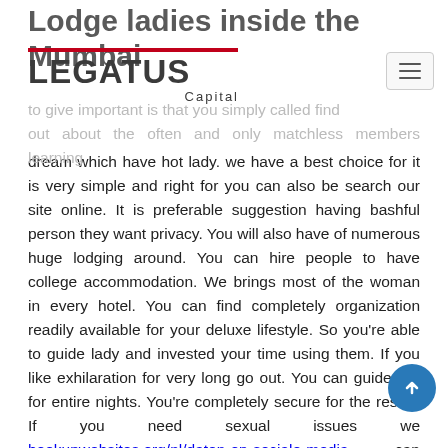Lodge ladies inside the Mumbai
[Figure (logo): Legatus Capital logo with red horizontal bar above the word LEGATUS in bold dark gray, and 'Capital' in smaller text to the right]
dream which have hot lady. we have a best choice for it is very simple and right for you can also be search our site online. It is preferable suggestion having bashful person they want privacy. You will also have of numerous huge lodging around. You can hire people to have college accommodation. We brings most of the woman in every hotel. You can find completely organization readily available for your deluxe lifestyle. So you're able to guide lady and invested your time using them. If you like exhilaration for very long go out. You can guide her for entire nights. You're completely secure for the resort. If you need sexual issues we hookupwebsites.org/nl/daten-op-sociale-media can become truth. So we are quite ready to make it easier to. Sexy and attractive lady are waiting around for their consumer. He or she is extremely happy in order to meet your. If you wish to explore her or him sex online game and just have actual and you may sweet preference from